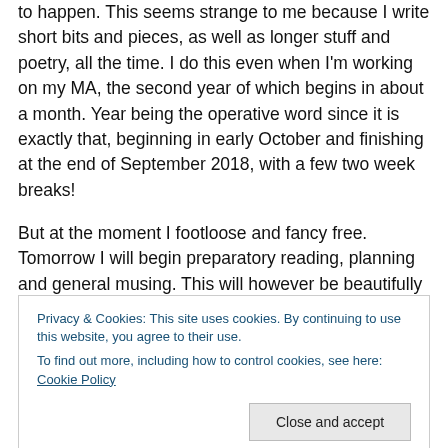to happen. This seems strange to me because I write short bits and pieces, as well as longer stuff and poetry, all the time. I do this even when I'm working on my MA, the second year of which begins in about a month. Year being the operative word since it is exactly that, beginning in early October and finishing at the end of September 2018, with a few two week breaks!
But at the moment I footloose and fancy free. Tomorrow I will begin preparatory reading, planning and general musing. This will however be beautifully interrupted by two weeks in Italy. Venice, Naples and then a week at the sea
Privacy & Cookies: This site uses cookies. By continuing to use this website, you agree to their use.
To find out more, including how to control cookies, see here: Cookie Policy
interesting. I have read some of the books but there are